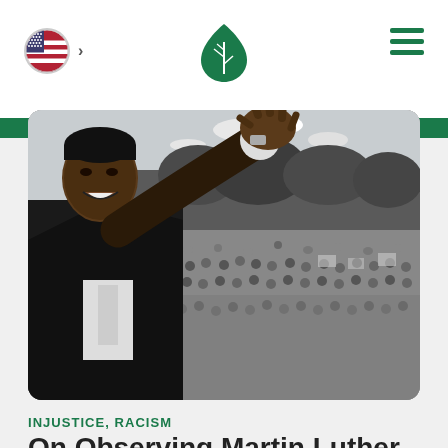Navigation bar with US flag, Ancestry leaf logo, and hamburger menu
[Figure (photo): Black and white historical photograph of Martin Luther King Jr. waving to a large crowd at a civil rights march or rally, with trees visible in the background]
INJUSTICE, RACISM
On Observing Martin Luther King and MLK Day